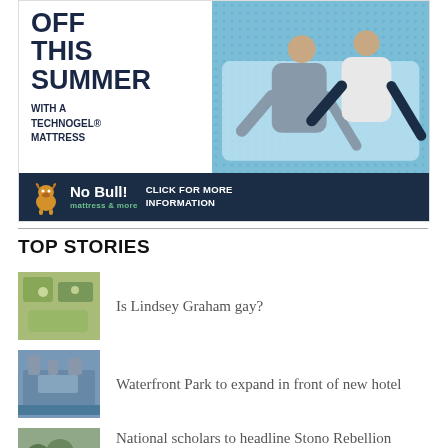[Figure (illustration): Advertisement banner for No Bull Mattress & More featuring Technogel mattress. Left side shows bold text 'COOL OFF THIS SUMMER WITH A TECHNOGEL® MATTRESS' on white background. Right side shows a couple lying on a blue mattress. Bottom bar is dark navy with bull mascot, 'No Bull! mattress & more' and 'CLICK FOR MORE INFORMATION' text.]
TOP STORIES
Is Lindsey Graham gay?
Waterfront Park to expand in front of new hotel
National scholars to headline Stono Rebellion conference